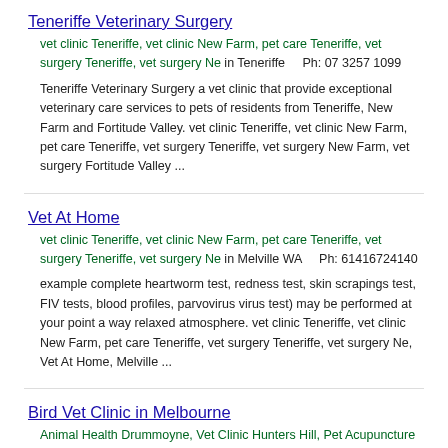Teneriffe Veterinary Surgery
vet clinic Teneriffe, vet clinic New Farm, pet care Teneriffe, vet surgery Teneriffe, vet surgery Ne in Teneriffe    Ph: 07 3257 1099
Teneriffe Veterinary Surgery a vet clinic that provide exceptional veterinary care services to pets of residents from Teneriffe, New Farm and Fortitude Valley. vet clinic Teneriffe, vet clinic New Farm, pet care Teneriffe, vet surgery Teneriffe, vet surgery New Farm, vet surgery Fortitude Valley ...
Vet At Home
vet clinic Teneriffe, vet clinic New Farm, pet care Teneriffe, vet surgery Teneriffe, vet surgery Ne in Melville WA    Ph: 61416724140
example complete heartworm test, redness test, skin scrapings test, FIV tests, blood profiles, parvovirus virus test) may be performed at your point a way relaxed atmosphere. vet clinic Teneriffe, vet clinic New Farm, pet care Teneriffe, vet surgery Teneriffe, vet surgery Ne, Vet At Home, Melville ...
Bird Vet Clinic in Melbourne
Animal Health Drummoyne, Vet Clinic Hunters Hill, Pet Acupuncture Haberfield in VIC
Melbourne, in Victoria, Australia. The clinic takes full care of birds by the vets for birds and it provides problem-solving, medical and surgical avian veterinary services in a proficient, caring environment. Animal Health Drummoyne, Vet Clinic Hunters Hill, Pet Acupuncture Haberfield, Bird Vet Clinic ...